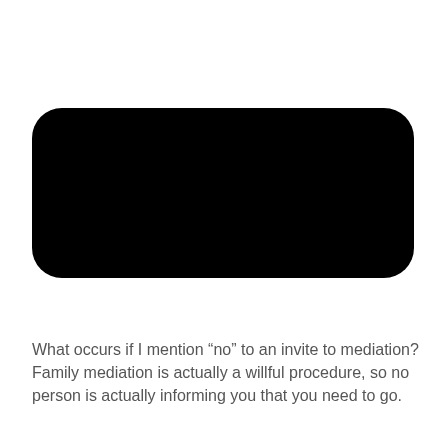[Figure (other): A large solid black rounded rectangle (redaction bar) spanning most of the page width, positioned in the upper-middle portion of the page.]
What occurs if I mention “no” to an invite to mediation? Family mediation is actually a willful procedure, so no person is actually informing you that you need to go.